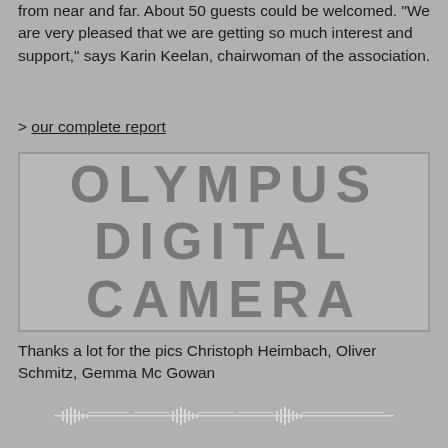from near and far. About 50 guests could be welcomed. "We are very pleased that we are getting so much interest and support," says Karin Keelan, chairwoman of the association.
> our complete report
[Figure (photo): Placeholder image with text OLYMPUS DIGITAL CAMERA]
Thanks a lot for the pics Christoph Heimbach, Oliver Schmitz, Gemma Mc Gowan
[Figure (illustration): Small decorative bottom image with repeated pattern resembling a flute or architectural element]